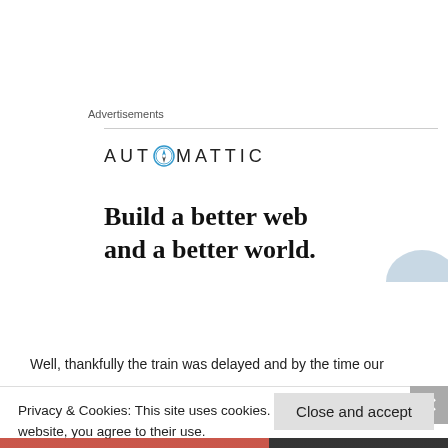Advertisements
[Figure (logo): Automattic logo with compass icon replacing the letter O, displayed in uppercase spaced letters: AUT O MATTIC]
[Figure (infographic): Advertisement banner reading 'Build a better web and a better world.' in bold serif font with a blue semicircle graphic element on the right.]
Well, thankfully the train was delayed and by the time our
Privacy & Cookies: This site uses cookies. By continuing to use this website, you agree to their use.
To find out more, including how to control cookies, see here: Cookie Policy
Close and accept